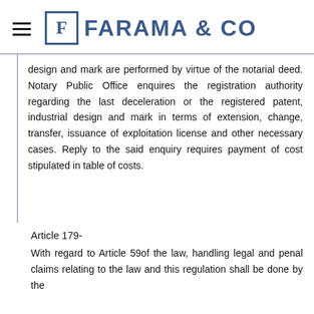FARAMA & CO
design and mark are performed by virtue of the notarial deed. Notary Public Office enquires the registration authority regarding the last deceleration or the registered patent, industrial design and mark in terms of extension, change, transfer, issuance of exploitation license and other necessary cases. Reply to the said enquiry requires payment of cost stipulated in table of costs.
Article 179-
With regard to Article 59of the law, handling legal and penal claims relating to the law and this regulation shall be done by the